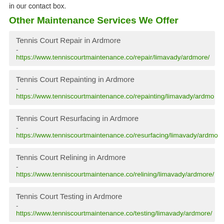in our contact box.
Other Maintenance Services We Offer
Tennis Court Repair in Ardmore - https://www.tenniscourtmaintenance.co/repair/limavady/ardmore/
Tennis Court Repainting in Ardmore - https://www.tenniscourtmaintenance.co/repainting/limavady/ardmore/
Tennis Court Resurfacing in Ardmore - https://www.tenniscourtmaintenance.co/resurfacing/limavady/ardmore/
Tennis Court Relining in Ardmore - https://www.tenniscourtmaintenance.co/relining/limavady/ardmore/
Tennis Court Testing in Ardmore - https://www.tenniscourtmaintenance.co/testing/limavady/ardmore/
Tennis Court Rejuvenation in Ardmore